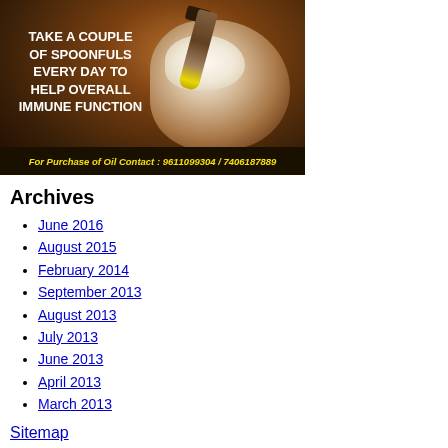[Figure (photo): Coconut oil advertisement image with text 'TAKE A COUPLE OF SPOONFULS EVERY DAY TO HELP OVERALL IMMUNE FUNCTION' and contact info 'For Purchase of Oil Contact: 9611099304 / 7406187889']
Archives
June 2016
August 2015
February 2014
September 2013
August 2013
July 2013
June 2013
April 2013
March 2013
Sitemap